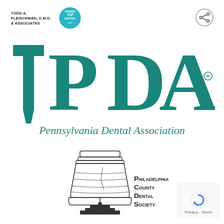TODD A. FLEISCHMAN, D.M.D. & ASSOCIATES
[Figure (logo): Top Dentist award badge circle with teal/cyan color]
[Figure (logo): Share icon button, circle with share symbol]
[Figure (logo): PDA Pennsylvania Dental Association logo in teal with registered trademark symbol]
[Figure (logo): Philadelphia County Dental Society logo featuring a Liberty Bell illustration with text]
Privacy - Terms